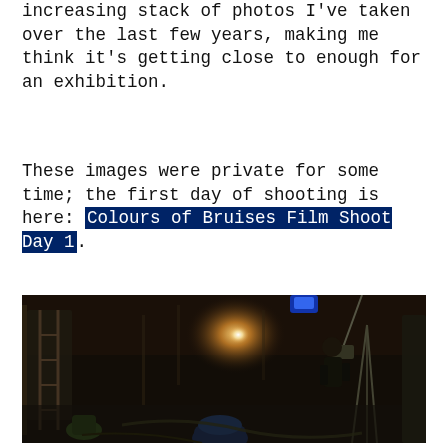increasing stack of photos I've taken over the last few years, making me think it's getting close to enough for an exhibition.
These images were private for some time; the first day of shooting is here: Colours of Bruises Film Shoot Day 1.
[Figure (photo): Behind-the-scenes photo of a film shoot on a dark, cluttered set with bright studio lighting. A person stands center-right operating equipment. Blue lights and film lights visible. Props and equipment scattered around.]